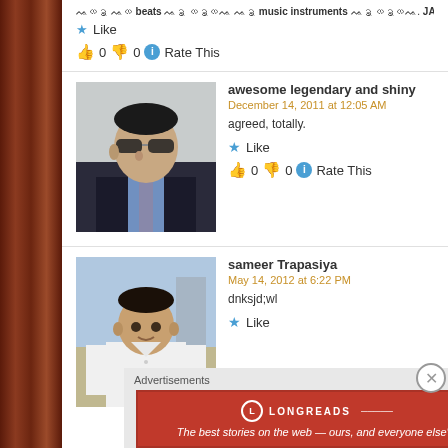beats music instruments JAY
Like
👍 0 👎 0 ℹ Rate This
awesome legendary and shiny
December 14, 2011 at 12:05 AM
agreed, totally.
Like
👍 0 👎 0 ℹ Rate This
[Figure (photo): Profile photo of commenter 'awesome legendary and shiny' - man in suit with sunglasses looking sideways]
sameer Trapasiya
May 14, 2012 at 6:22 PM
dnksjd;wl
Like
[Figure (photo): Profile photo of commenter 'sameer Trapasiya' - man in white shirt outdoors]
Advertisements
[Figure (infographic): Longreads advertisement banner - red background with logo and tagline 'The best stories on the web — ours, and everyone else's.']